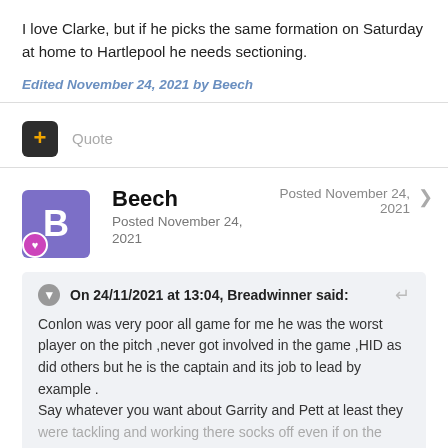I love Clarke, but if he picks the same formation on Saturday at home to Hartlepool he needs sectioning.
Edited November 24, 2021 by Beech
Quote
Beech
Posted November 24, 2021
Posted November 24, 2021
On 24/11/2021 at 13:04, Breadwinner said:
Conlon was very poor all game for me he was the worst player on the pitch ,never got involved in the game ,HID as did others but he is the captain and its job to lead by example .
Say whatever you want about Garrity and Pett at least they were tackling and working there socks off even if on the ball they were not at there best.